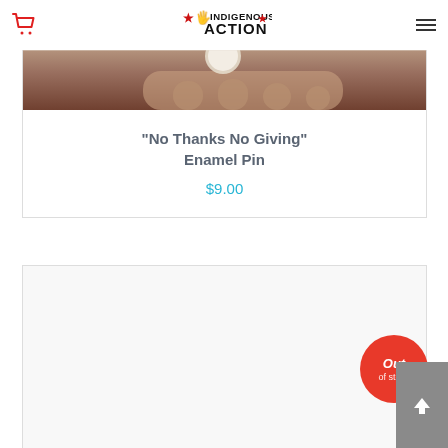Indigenous Action — Navigation header with cart icon and hamburger menu
[Figure (photo): Product image of No Thanks No Giving Enamel Pin — close-up photo showing a hand holding a small pin against a light background]
“No Thanks No Giving” Enamel Pin
$9.00
[Figure (photo): Second product image — blank/white product photo with Out of stock badge overlay]
Out of stock